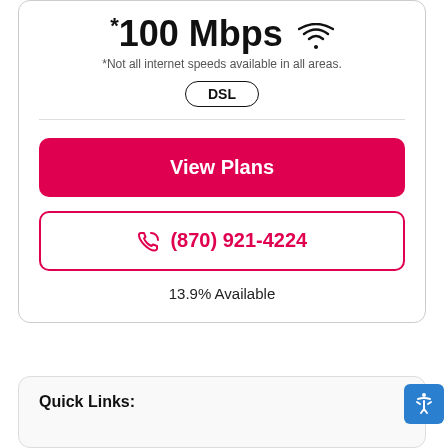*100 Mbps
*Not all internet speeds available in all areas.
DSL
View Plans
(870) 921-4224
13.9% Available
Quick Links: